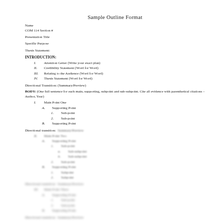Sample Outline Format
Name
COM 114 Section #
Presentation Title
Specific Purpose
Thesis Statement:
INTRODUCTION:
I.    Attention Getter (Write your exact plan)
II.   Credibility Statement (Word for Word)
III.  Relating to the Audience (Word for Word)
IV.   Thesis Statement (Word for Word)
Directional Transition: (Summary/Preview)
BODY: (One full sentence for each main, supporting, subpoint and sub-subpoint. Cite all evidence with parenthetical citations – Author, Year)
I.    Main Point One
A.  Supporting Point
1.  Sub-point
2.  Sub-point
B.  Supporting Point
Directional transition:
II.   Main Point Two (blurred)
Directional transition: (blurred)
III.  Main Point Three (blurred)